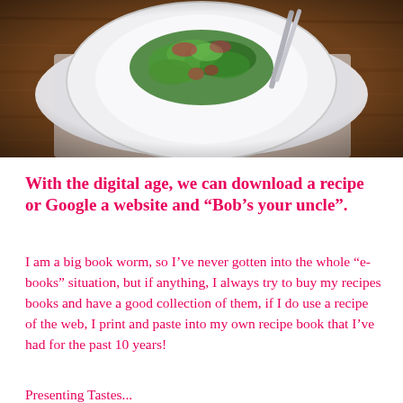[Figure (photo): Overhead view of a white plate with a salad (greens, walnuts, microgreens) and a fork/spoon, placed on a rustic wooden table with a white cloth napkin underneath]
With the digital age, we can download a recipe or Google a website and “Bob’s your uncle”.
I am a big book worm, so I’ve never gotten into the whole “e-books” situation, but if anything, I always try to buy my recipes books and have a good collection of them, if I do use a recipe of the web, I print and paste into my own recipe book that I’ve had for the past 10 years!
Presenting Tastes...